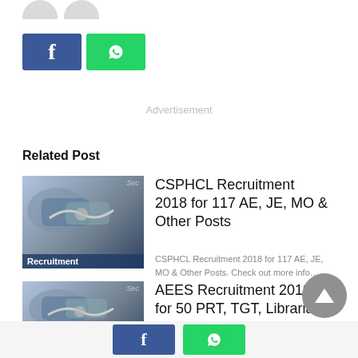[Figure (illustration): Two grey avatar/profile icons at top left]
[Figure (illustration): Facebook and WhatsApp share buttons at top]
Advertisement
Related Post
[Figure (photo): Recruitment image showing handshake with Recruitment label]
CSPHCL Recruitment 2018 for 117 AE, JE, MO & Other Posts
CSPHCL Recruitment 2018 for 117 AE, JE, MO & Other Posts. Check out more info…
[Figure (photo): Recruitment image showing handshake]
AEES Recruitment 2018 for 50 PRT, TGT, Librarian, Other Posts
Check out on AEES Recruitment 2018 for PRT, TGT,
[Figure (illustration): Back to top arrow button]
[Figure (illustration): Facebook and WhatsApp share buttons at bottom]